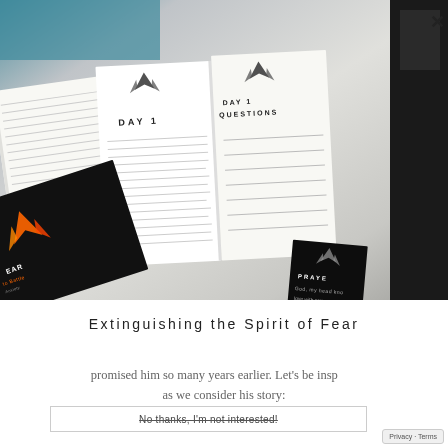[Figure (photo): Photo showing multiple open books/devotional workbooks including 'Extinguishing the Spirit of Fear' with dark cover and orange accents, open interior pages showing Day 1 and Day 1 Questions sections with bird logo, arranged on a light grey surface. A dark tablet device is partially visible at right edge.]
Extinguishing the Spirit of Fear
promised him so many years earlier. Let's be inspired as we consider his story:
No thanks, I'm not interested!